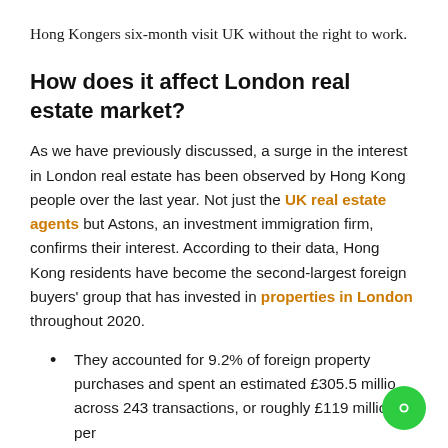Hong Kongers six-month visit UK without the right to work.
How does it affect London real estate market?
As we have previously discussed, a surge in the interest in London real estate has been observed by Hong Kong people over the last year. Not just the UK real estate agents but Astons, an investment immigration firm, confirms their interest. According to their data, Hong Kong residents have become the second-largest foreign buyers' group that has invested in properties in London throughout 2020.
They accounted for 9.2% of foreign property purchases and spent an estimated £305.5 million across 243 transactions, or roughly £119 million per